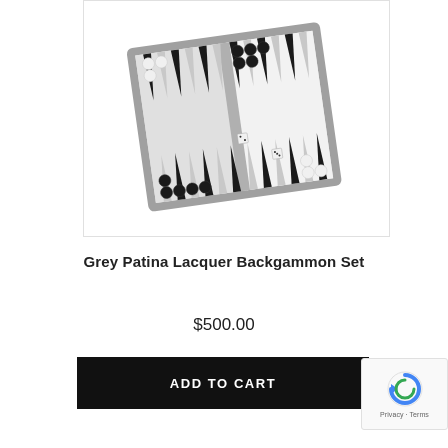[Figure (photo): A grey patina lacquer backgammon set photographed open, showing the board with black and white checker pieces arranged on black and white triangular points, with dice visible on the board. The case has a light grey exterior frame.]
Grey Patina Lacquer Backgammon Set
$500.00
ADD TO CART